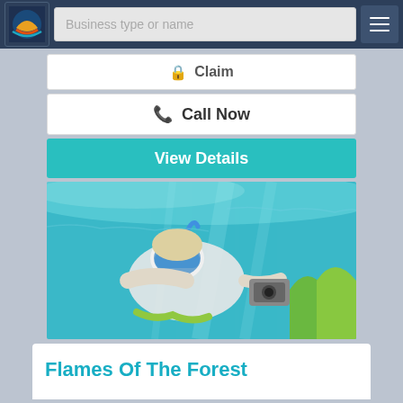Business type or name
Claim
Call Now
View Details
[Figure (photo): Underwater photo of a woman snorkeling, wearing a diving mask and holding an underwater camera, with turquoise water and coral reef in background]
Flames Of The Forest